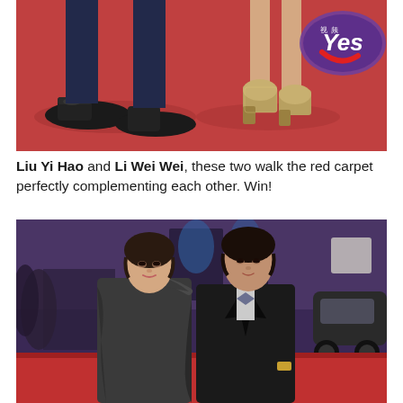[Figure (photo): Close-up photo of two pairs of feet/legs on a red carpet. On the left, men's black dress shoes and dark suit trousers. On the right, a woman's sparkly high-heeled platform shoes and bare legs. A 'Yes' logo watermark visible in upper right corner.]
Liu Yi Hao and Li Wei Wei, these two walk the red carpet perfectly complementing each other. Win!
[Figure (photo): Photo of two celebrities, Liu Yi Hao and Li Wei Wei, posing together on a red carpet at a formal event. The woman on the left wears a dark grey one-shoulder draped satin gown with short styled hair. The man on the right wears a black tuxedo suit with a patterned bow tie and a watch. Background shows event banners and a blurred crowd.]